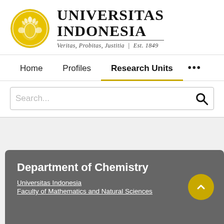[Figure (logo): Universitas Indonesia logo with golden emblem and text: UNIVERSITAS INDONESIA, Veritas, Probitas, Justitia | Est. 1849]
Home   Profiles   Research Units   ...
Search...
Department of Chemistry
Universitas Indonesia
Faculty of Mathematics and Natural Sciences